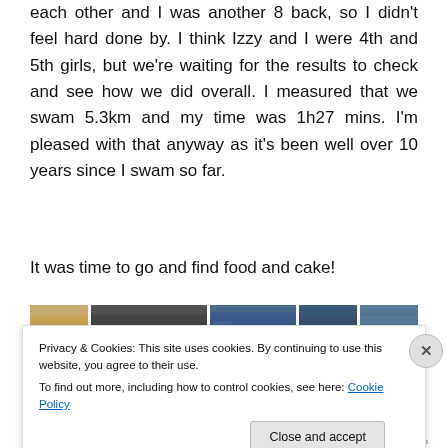each other and I was another 8 back, so I didn't feel hard done by. I think Izzy and I were 4th and 5th girls, but we're waiting for the results to check and see how we did overall. I measured that we swam 5.3km and my time was 1h27 mins. I'm pleased with that anyway as it's been well over 10 years since I swam so far.
It was time to go and find food and cake!
[Figure (photo): Five photos in a row showing swimmers and participants at an open water swimming event: indoor group selfie, two women in wetsuits smiling, swimmer exiting water, person in wetsuit walking near metal barriers, swimmer emerging from water]
Privacy & Cookies: This site uses cookies. By continuing to use this website, you agree to their use.
To find out more, including how to control cookies, see here: Cookie Policy